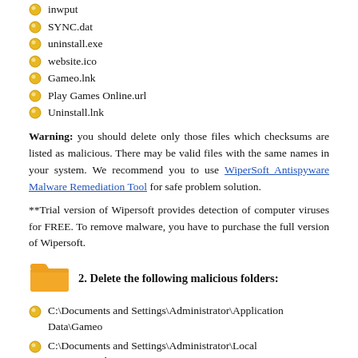inwput
SYNC.dat
uninstall.exe
website.ico
Gameo.lnk
Play Games Online.url
Uninstall.lnk
Warning: you should delete only those files which checksums are listed as malicious. There may be valid files with the same names in your system. We recommend you to use WiperSoft Antispyware Malware Remediation Tool for safe problem solution.
**Trial version of Wipersoft provides detection of computer viruses for FREE. To remove malware, you have to purchase the full version of Wipersoft.
2. Delete the following malicious folders:
C:\Documents and Settings\Administrator\Application Data\Gameo
C:\Documents and Settings\Administrator\Local Settings\Application Data\Gameo